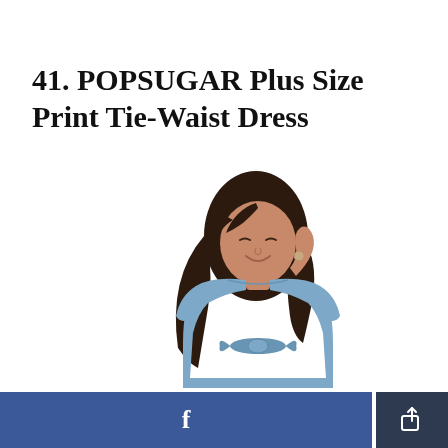41. POPSUGAR Plus Size Print Tie-Waist Dress
[Figure (photo): Woman with long dark hair wearing a medium blue short-sleeve tie-waist dress, posing with one hand raised to her hair, smiling with eyes downcast, on white background]
Facebook share button and general share button